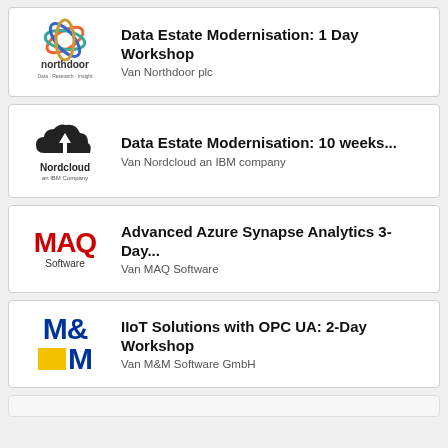[Figure (logo): Northdoor plc logo with colorful rings and text 'northdoor']
Data Estate Modernisation: 1 Day Workshop
Van Northdoor plc
[Figure (logo): Nordcloud an IBM Company logo with cloud and arrow icon]
Data Estate Modernisation: 10 weeks...
Van Nordcloud an IBM company
[Figure (logo): MAQ Software logo in red text]
Advanced Azure Synapse Analytics 3-Day...
Van MAQ Software
[Figure (logo): M&M Software GmbH logo in blue with yellow square]
IIoT Solutions with OPC UA: 2-Day Workshop
Van M&M Software GmbH